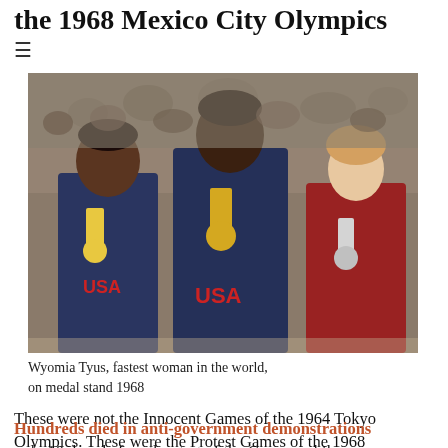the 1968 Mexico City Olympics
[Figure (photo): Three athletes on a medal stand at the 1968 Mexico City Olympics. Two athletes in USA navy blue uniforms with medals, and one athlete in a red uniform on the right. The center athlete is Wyomia Tyus, the fastest woman in the world.]
Wyomia Tyus, fastest woman in the world, on medal stand 1968
These were not the Innocent Games of the 1964 Tokyo Olympics. These were the Protest Games of the 1968 Mexico City Olympics.
Hundreds died in anti-government demonstrations
only 10 days before the start of the Games, while black American athletes planned to demonstrate to